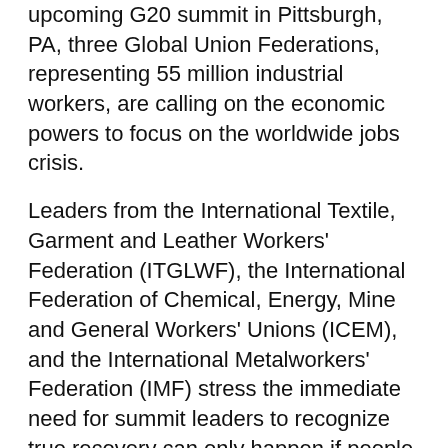upcoming G20 summit in Pittsburgh, PA, three Global Union Federations, representing 55 million industrial workers, are calling on the economic powers to focus on the worldwide jobs crisis.
Leaders from the International Textile, Garment and Leather Workers' Federation (ITGLWF), the International Federation of Chemical, Energy, Mine and General Workers' Unions (ICEM), and the International Metalworkers' Federation (IMF) stress the immediate need for summit leaders to recognize true recovery can only happen if people are working.
The federations call attention to the "Pittsburgh Declaration," a statement by the International Trade Union Confederation (ITUC) issued last week that demands more job-creating stimulus, a changed mindset by international financial institutions